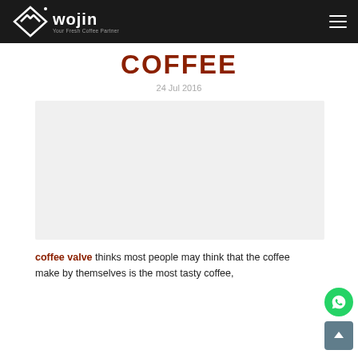wojin — Your Fresh Coffee Partner
COFFEE
24 Jul 2016
[Figure (photo): Light gray rectangular image placeholder for coffee-related photo]
coffee valve thinks most people may think that the coffee make by themselves is the most tasty coffee,